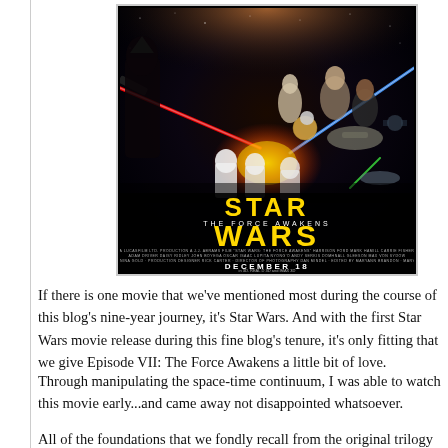[Figure (photo): Movie poster for Star Wars: The Force Awakens showing characters with lightsabers, stormtroopers, and spacecraft. Features the STAR WARS logo and 'THE FORCE AWAKENS' subtitle, with DECEMBER 18 release date in 3D, Real D 3D and IMAX 3D.]
If there is one movie that we've mentioned most during the course of this blog's nine-year journey, it's Star Wars. And with the first Star Wars movie release during this fine blog's tenure, it's only fitting that we give Episode VII: The Force Awakens a little bit of love.
Through manipulating the space-time continuum, I was able to watch this movie early...and came away not disappointed whatsoever.
All of the foundations that we fondly recall from the original trilogy is